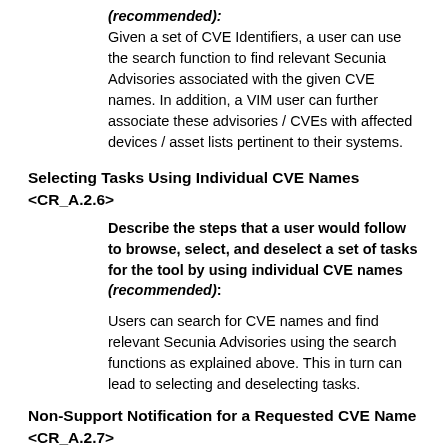(recommended): Given a set of CVE Identifiers, a user can use the search function to find relevant Secunia Advisories associated with the given CVE names. In addition, a VIM user can further associate these advisories / CVEs with affected devices / asset lists pertinent to their systems.
Selecting Tasks Using Individual CVE Names <CR_A.2.6>
Describe the steps that a user would follow to browse, select, and deselect a set of tasks for the tool by using individual CVE names (recommended):
Users can search for CVE names and find relevant Secunia Advisories using the search functions as explained above. This in turn can lead to selecting and deselecting tasks.
Non-Support Notification for a Requested CVE Name <CR_A.2.7>